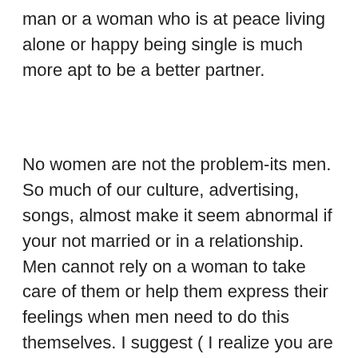man or a woman who is at peace living alone or happy being single is much more apt to be a better partner.
No women are not the problem-its men. So much of our culture, advertising, songs, almost make it seem abnormal if your not married or in a relationship. Men cannot rely on a woman to take care of them or help them express their feelings when men need to do this themselves. I suggest ( I realize you are busy and have a lot of tasks with teaching) but I would read “Fire in The Belly” or “Iron John, these are great books that sum up what I am trying to convey. The authors of these books do not blame women at all-they encourage men to learn how to become at peace with themselves without a woman, and